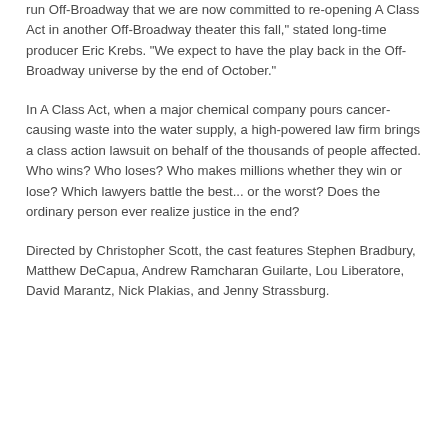run Off-Broadway that we are now committed to re-opening A Class Act in another Off-Broadway theater this fall," stated long-time producer Eric Krebs. "We expect to have the play back in the Off-Broadway universe by the end of October."
In A Class Act, when a major chemical company pours cancer-causing waste into the water supply, a high-powered law firm brings a class action lawsuit on behalf of the thousands of people affected. Who wins? Who loses? Who makes millions whether they win or lose? Which lawyers battle the best... or the worst? Does the ordinary person ever realize justice in the end?
Directed by Christopher Scott, the cast features Stephen Bradbury, Matthew DeCapua, Andrew Ramcharan Guilarte, Lou Liberatore, David Marantz, Nick Plakias, and Jenny Strassburg.